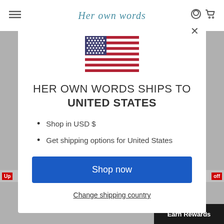Her own words
[Figure (illustration): US flag SVG illustration]
HER OWN WORDS SHIPS TO UNITED STATES
Shop in USD $
Get shipping options for United States
Shop now
Change shipping country
Earn Rewards